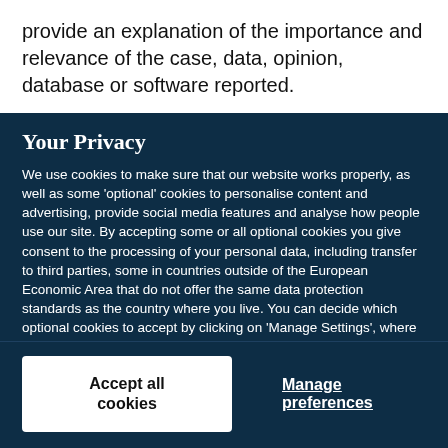provide an explanation of the importance and relevance of the case, data, opinion, database or software reported.
Your Privacy
We use cookies to make sure that our website works properly, as well as some 'optional' cookies to personalise content and advertising, provide social media features and analyse how people use our site. By accepting some or all optional cookies you give consent to the processing of your personal data, including transfer to third parties, some in countries outside of the European Economic Area that do not offer the same data protection standards as the country where you live. You can decide which optional cookies to accept by clicking on 'Manage Settings', where you can also find more information about how your personal data is processed. Further information can be found in our privacy policy.
Accept all cookies
Manage preferences